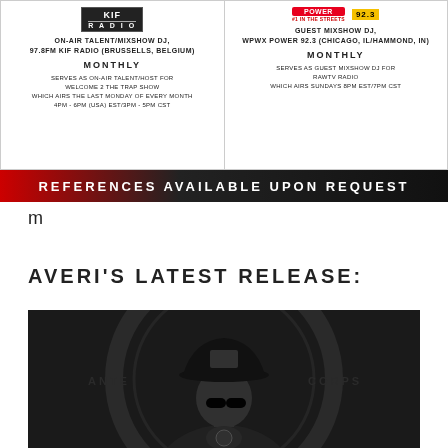[Figure (infographic): Two-column radio station credentials. Left column: KIF Radio logo, ON-AIR TALENT/MIXSHOW DJ, 97.8FM KIF RADIO (BRUSSELLS, BELGIUM), MONTHLY, serves as on-air talent/host for Welcome 2 The Trap Show which airs the last Monday of every month 4PM-6PM (USA) EST/3PM-5PM CST. Right column: Power 92.3 logo, GUEST MIXSHOW DJ, WPWX POWER 92.3 (CHICAGO, IL/HAMMOND, IN), MONTHLY, serves as guest mixshow DJ for RAWTV RADIO which airs Sundays 8PM EST/7PM CST.]
REFERENCES AVAILABLE UPON REQUEST
m
AVERI'S LATEST RELEASE:
[Figure (photo): Black and white photo of a male hip-hop artist wearing a Chicago White Sox fitted cap and sunglasses, with dollar bill-style background graphics and text.]